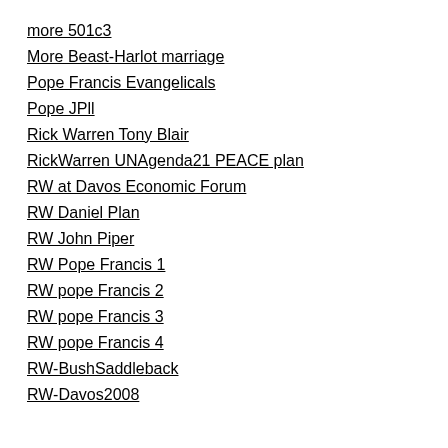more 501c3
More Beast-Harlot marriage
Pope Francis Evangelicals
Pope JPll
Rick Warren Tony Blair
RickWarren UNAgenda21 PEACE plan
RW at Davos Economic Forum
RW Daniel Plan
RW John Piper
RW Pope Francis 1
RW pope Francis 2
RW pope Francis 3
RW pope Francis 4
RW-BushSaddleback
RW-Davos2008